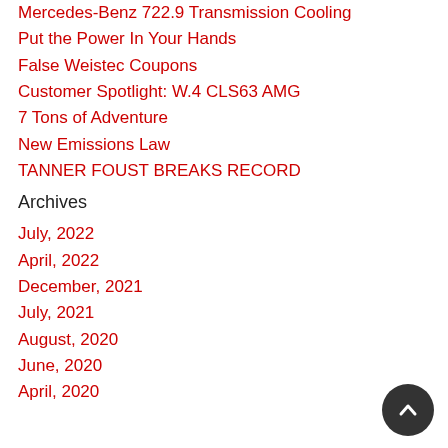Mercedes-Benz 722.9 Transmission Cooling
Put the Power In Your Hands
False Weistec Coupons
Customer Spotlight: W.4 CLS63 AMG
7 Tons of Adventure
New Emissions Law
TANNER FOUST BREAKS RECORD
Archives
July, 2022
April, 2022
December, 2021
July, 2021
August, 2020
June, 2020
April, 2020